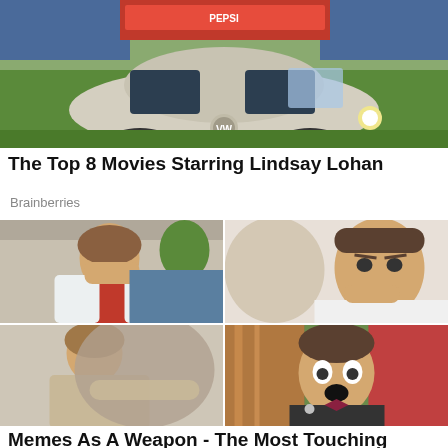[Figure (photo): Aerial/overhead view of a vintage Volkswagen Beetle car at what appears to be an outdoor event with a crowd in the background on a green field]
The Top 8 Movies Starring Lindsay Lohan
Brainberries
[Figure (photo): 2x2 grid of four photos: top-left shows a woman covering her eyes with her hands, top-right shows a man with his hand near his mouth looking worried, bottom-left shows two people hugging, bottom-right shows a man in a suit with a shocked expression in a colorful setting]
Memes As A Weapon - The Most Touching